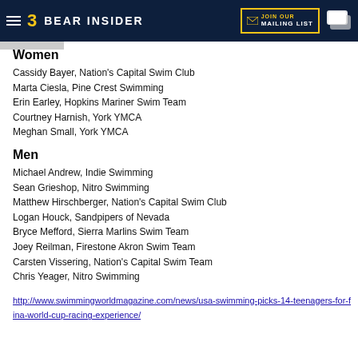Bear Insider — JOIN OUR MAILING LIST
Women
Cassidy Bayer, Nation's Capital Swim Club
Marta Ciesla, Pine Crest Swimming
Erin Earley, Hopkins Mariner Swim Team
Courtney Harnish, York YMCA
Meghan Small, York YMCA
Men
Michael Andrew, Indie Swimming
Sean Grieshop, Nitro Swimming
Matthew Hirschberger, Nation's Capital Swim Club
Logan Houck, Sandpipers of Nevada
Bryce Mefford, Sierra Marlins Swim Team
Joey Reilman, Firestone Akron Swim Team
Carsten Vissering, Nation's Capital Swim Team
Chris Yeager, Nitro Swimming
http://www.swimmingworldmagazine.com/news/usa-swimming-picks-14-teenagers-for-fina-world-cup-racing-experience/